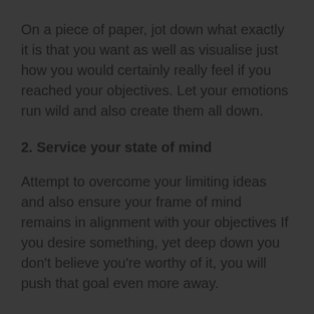On a piece of paper, jot down what exactly it is that you want as well as visualise just how you would certainly really feel if you reached your objectives. Let your emotions run wild and also create them all down.
2. Service your state of mind
Attempt to overcome your limiting ideas and also ensure your frame of mind remains in alignment with your objectives If you desire something, yet deep down you don't believe you're worthy of it, you will push that goal even more away.
3. Take genuine activity in the direction of your objectives